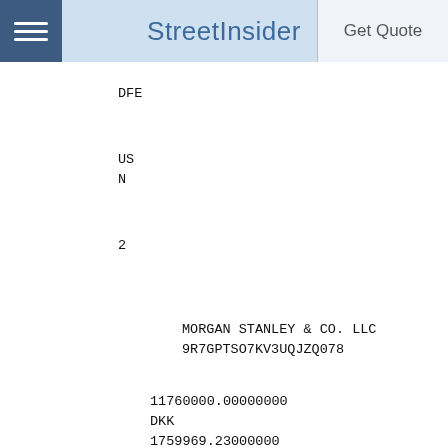StreetInsider | Get Quote
DFE
US
N
2
MORGAN STANLEY & CO. LLC
9R7GPTSO7KV3UQJZQ078
11760000.00000000
DKK
1759969.23000000
USD
2022-06-15
5897.28000000
N
N
N